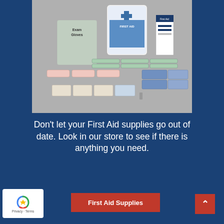[Figure (photo): First aid kit contents spread out including bandages, gloves, antiseptic wipes, and a white first aid box with blue cross logo, along with a first aid guide booklet]
Don't let your First Aid supplies go out of date. Look in our store to see if there is anything you need.
First Aid Supplies